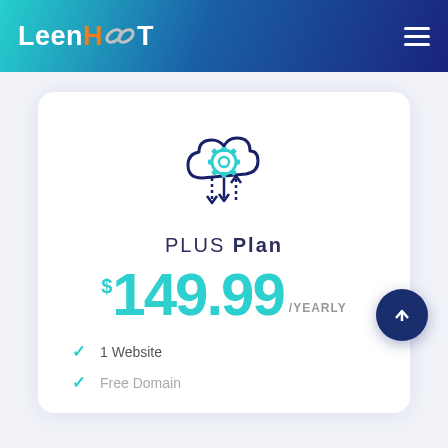LeenHOT
[Figure (illustration): Cloud with gear/settings icon, teal colored gear in center, arrows pointing up and down, dark navy outline style icon representing hosting or server management]
PLUS Plan
$149.99 /YEARLY
1 Website
Free Domain